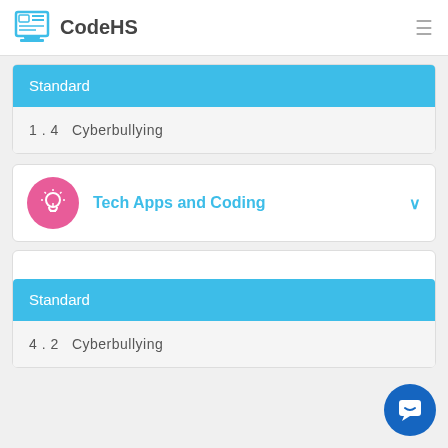CodeHS
Standard
1.4  Cyberbullying
Tech Apps and Coding
Standard
4.2  Cyberbullying